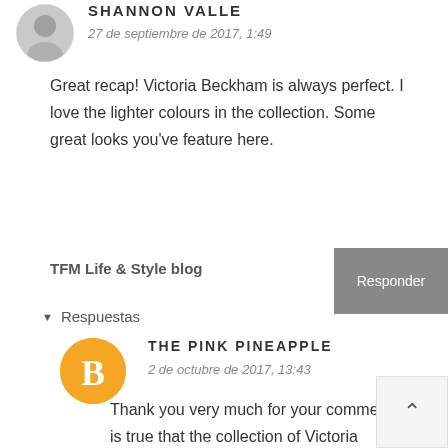[Figure (photo): Circular avatar photo of Shannon Valle, showing a person with grey/white tones]
SHANNON VALLE
27 de septiembre de 2017, 1:49
Great recap! Victoria Beckham is always perfect. I love the lighter colours in the collection. Some great looks you've feature here.
TFM Life & Style blog
Responder
Respuestas
[Figure (logo): Blogger 'B' logo icon in orange circle]
THE PINK PINEAPPLE
2 de octubre de 2017, 13:43
Thank you very much for your comment, it is true that the collection of Victoria Beckham is beautiful!